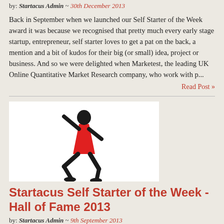by: Startacus Admin ~ 30th December 2013
Back in September when we launched our Self Starter of the Week award it was because we recognised that pretty much every early stage startup, entrepreneur, self starter loves to get a pat on the back, a mention and a bit of kudos for their big (or small) idea, project or business. And so we were delighted when Marketest, the leading UK Online Quantitative Market Research company, who work with p...
Read Post »
[Figure (illustration): Illustration of a runner in red vest and shorts, running posture, black silhouette style on white background]
Startacus Self Starter of the Week - Hall of Fame 2013
by: Startacus Admin ~ 9th September 2013